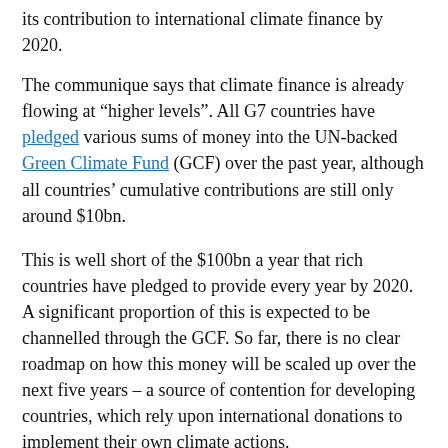its contribution to international climate finance by 2020.
The communique says that climate finance is already flowing at “higher levels”. All G7 countries have pledged various sums of money into the UN-backed Green Climate Fund (GCF) over the past year, although all countries’ cumulative contributions are still only around $10bn.
This is well short of the $100bn a year that rich countries have pledged to provide every year by 2020. A significant proportion of this is expected to be channelled through the GCF. So far, there is no clear roadmap on how this money will be scaled up over the next five years – a source of contention for developing countries, which rely upon international donations to implement their own climate actions.
In the statement, the G7 countries pledge to “continue our efforts to provide and mobilize increased finance, from public and private sources”.